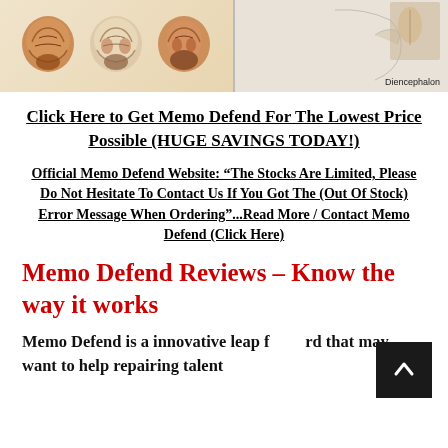[Figure (illustration): Top portion showing two images side by side: on the left, three brain cross-section illustrations in orange/brown tones; on the right, a anatomical diagram with label 'Diencephalon']
Click Here to Get Memo Defend For The Lowest Price Possible (HUGE SAVINGS TODAY!)
Official Memo Defend Website: “The Stocks Are Limited, Please Do Not Hesitate To Contact Us If You Got The (Out Of Stock) Error Message When Ordering”...Read More / Contact Memo Defend (Click Here)
Memo Defend Reviews – Know the way it works
Memo Defend is a innovative leap forward that may want to help repairing talent